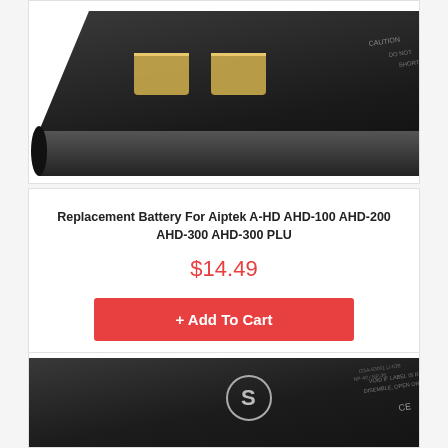[Figure (photo): Close-up photo of a black replacement battery with gold contact pads, shown at an angle from above. Partial view cropped at top of card.]
Replacement Battery For Aiptek A-HD AHD-100 AHD-200 AHD-300 AHD-300 PLU
$14.49
+ Add To Cart
[Figure (photo): Close-up photo of a black replacement battery with 'S' logo branding, shown at an angle. Partial view cropped at bottom of page.]